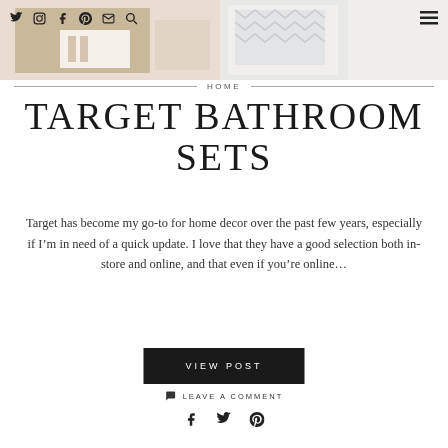Twitter Instagram Facebook Pinterest Email Search | Menu
[Figure (photo): Hero image showing bathroom decor items including wood-toned and white/patterned accessories]
HOME
TARGET BATHROOM SETS
Target has become my go-to for home decor over the past few years, especially if I'm in need of a quick update. I love that they have a good selection both in-store and online, and that even if you're online...
VIEW POST
LEAVE A COMMENT
Facebook Twitter Pinterest